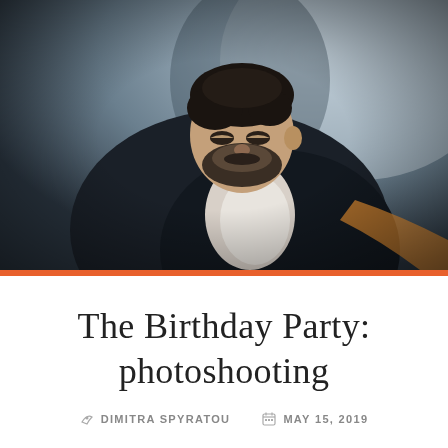[Figure (photo): A young man with dark hair and beard wearing a dark blazer over a white shirt, looking downward in a moody, dark-toned photographic setting. Background is a light grey-blue wall.]
The Birthday Party: photoshooting
DIMITRA SPYRATOU   MAY 15, 2019